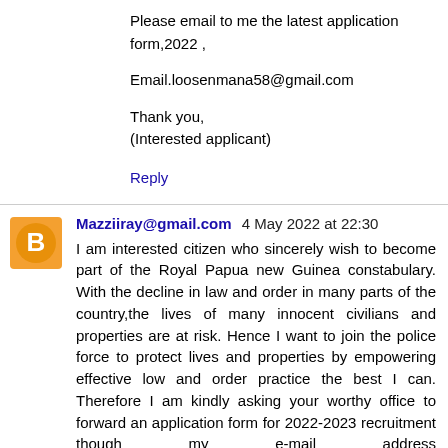Please email to me the latest application form,2022 ,
Email.loosenmana58@gmail.com
Thank you,
(Interested applicant)
Reply
Mazziiray@gmail.com  4 May 2022 at 22:30
I am interested citizen who sincerely wish to become part of the Royal Papua new Guinea constabulary. With the decline in law and order in many parts of the country,the lives of many innocent civilians and properties are at risk. Hence I want to join the police force to protect lives and properties by empowering effective low and order practice the best I can. Therefore I am kindly asking your worthy office to forward an application form for 2022-2023 recruitment though my e-mail address provided,mazziiray@gmail.com I look forward to hearing from you soon.